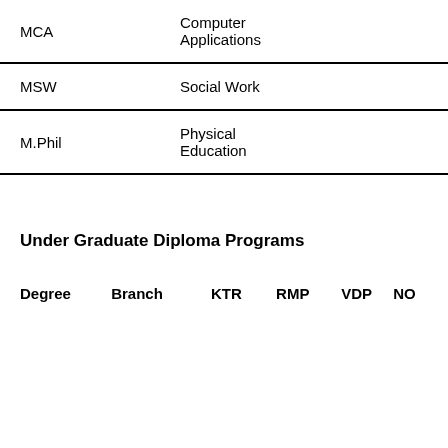| Degree | Branch |
| --- | --- |
| MCA | Computer Applications |
| MSW | Social Work |
| M.Phil | Physical Education |
Under Graduate Diploma Programs
| Degree | Branch | KTR | RMP | VDP | NO |
| --- | --- | --- | --- | --- | --- |